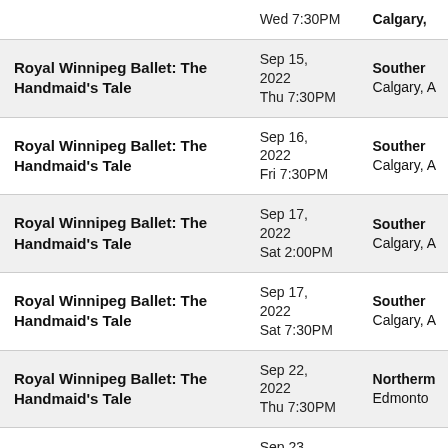| Event | Date | Venue |
| --- | --- | --- |
| Royal Winnipeg Ballet: The Handmaid's Tale | Wed 7:30PM | Calgary, A |
| Royal Winnipeg Ballet: The Handmaid's Tale | Sep 15, 2022
Thu 7:30PM | Southern
Calgary, A |
| Royal Winnipeg Ballet: The Handmaid's Tale | Sep 16, 2022
Fri 7:30PM | Southern
Calgary, A |
| Royal Winnipeg Ballet: The Handmaid's Tale | Sep 17, 2022
Sat 2:00PM | Southern
Calgary, A |
| Royal Winnipeg Ballet: The Handmaid's Tale | Sep 17, 2022
Sat 7:30PM | Southern
Calgary, A |
| Royal Winnipeg Ballet: The Handmaid's Tale | Sep 22, 2022
Thu 7:30PM | Northern
Edmonto |
| Royal Winnipeg Ballet: The Handmaid's Tale | Sep 23, 2022
Fri 7:30PM | Northern
Edmonto |
| Royal Winnipeg Ballet: The Handmaid's Tale | Sep 24, 2022
Sat 2:00PM | Northern
Edmonto |
| Royal Winnipeg Ballet: The Handmaid's Tale | Sep 24, 2022
Sat 7:30PM | Northern
Edmonto |